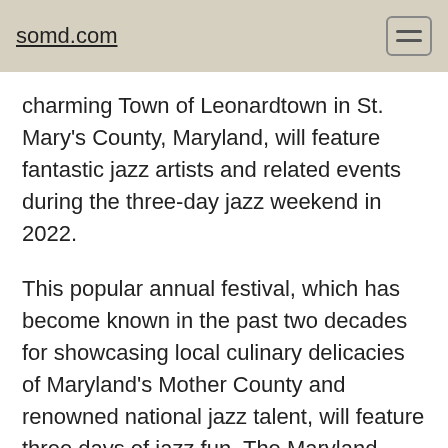somd.com
charming Town of Leonardtown in St. Mary's County, Maryland, will feature fantastic jazz artists and related events during the three-day jazz weekend in 2022.
This popular annual festival, which has become known in the past two decades for showcasing local culinary delicacies of Maryland's Mother County and renowned national jazz talent, will feature three days of jazz fun. The Maryland Office of Tourism recognized the 20th anniversary festival in 2019 with the "Maximizing Opportunities Award"—the only event in Maryland to receive such